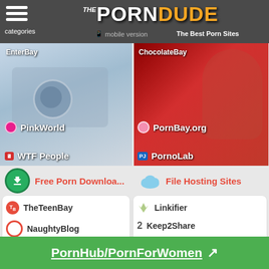The Porn Dude — The Best Porn Sites — categories — mobile version
[Figure (screenshot): Two thumbnail images side by side: left shows a hand on a mouse with overlaid site labels PinkWorld and WTF People; right shows a woman on red background with PornBay.org and PornoLab labels.]
Free Porn Downloa...
File Hosting Sites
TheTeenBay
NaughtyBlog
HornyWhores
GirlScanner
Linkifier
Keep2Share
Uploaded.net
RapidGator.net
FileFactory
PornHub/PornForWomen